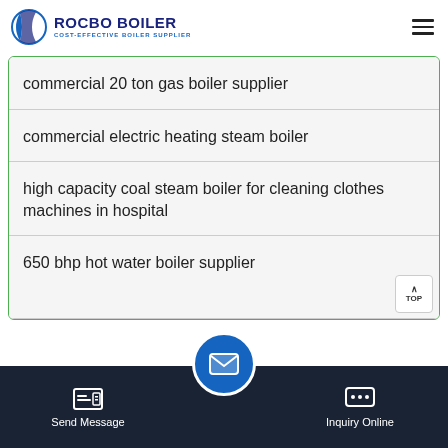ROCBO BOILER - COST-EFFECTIVE BOILER SUPPLIER
commercial 20 ton gas boiler supplier
commercial electric heating steam boiler
high capacity coal steam boiler for cleaning clothes machines in hospital
650 bhp hot water boiler supplier
Send Message | Inquiry Online